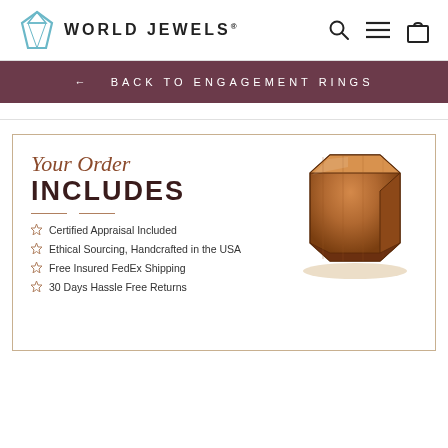WORLD JEWELS
← BACK TO ENGAGEMENT RINGS
[Figure (screenshot): World Jewels e-commerce product page section showing 'Your Order INCLUDES' with a wooden jewelry box image and bullet points listing order inclusions.]
Certified Appraisal Included
Ethical Sourcing, Handcrafted in the USA
Free Insured FedEx Shipping
30 Days Hassle Free Returns